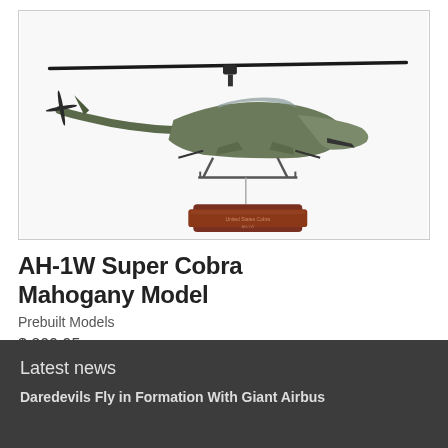[Figure (photo): AH-1W Super Cobra military helicopter scale model mounted on a dark mahogany wood base, shown at an angle against a white background]
AH-1W Super Cobra Mahogany Model
Prebuilt Models
$ 209.95
Latest news
Daredevils Fly in Formation With Giant Airbus